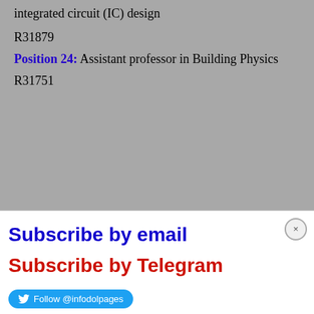integrated circuit (IC) design
R31879
Position 24: Assistant professor in Building Physics
R31751
[Figure (screenshot): Modal popup with Subscribe by email (blue), Subscribe by Telegram (red), and Follow @infodolpages Twitter button]
| Field | Value |
| --- | --- |
| Organization | Alto University |
| Fellowship Level | PhD, Postdoc, Tenured Faculty |
| Country | Finland |
| Subject areas | Any Discipline |
[Figure (screenshot): Social sharing bar with Twitter, WhatsApp, LinkedIn, Blogger, Pinterest, Telegram, Facebook icons and Share label]